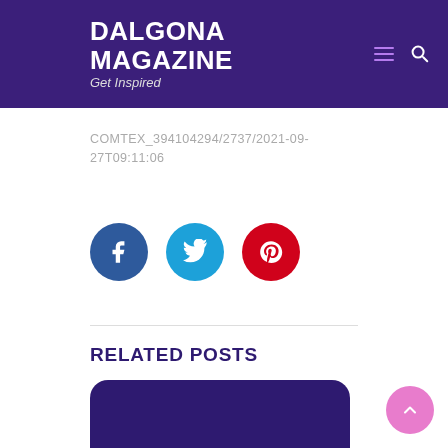DALGONA MAGAZINE
Get Inspired
COMTEX_394104294/2737/2021-09-27T09:11:06
[Figure (other): Social share buttons: Facebook (blue circle), Twitter (cyan circle), Pinterest (red circle)]
RELATED POSTS
[Figure (illustration): Dark purple rounded rectangle card for a related post thumbnail]